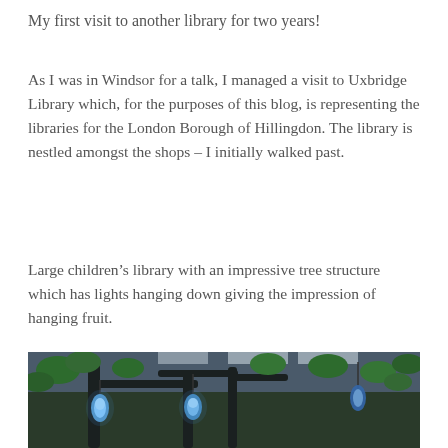My first visit to another library for two years!
As I was in Windsor for a talk, I managed a visit to Uxbridge Library which, for the purposes of this blog, is representing the libraries for the London Borough of Hillingdon. The library is nestled amongst the shops – I initially walked past.
Large children’s library with an impressive tree structure which has lights hanging down giving the impression of hanging fruit.
[Figure (photo): Interior photo of a children's library showing a decorative tree structure with blue glowing pendant lights hanging down like fruit, and green leaf decorations, giving the impression of hanging fruit in a forest.]